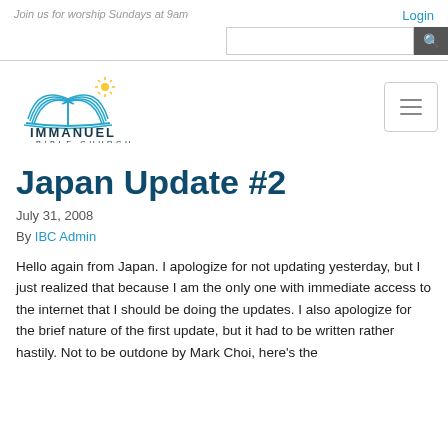Join us for worship Sundays at 9am
Login
[Figure (logo): Immanuel Bible Church logo: open book with rays above, teal/blue lines, with text IMMANUEL BIBLE CHURCH below]
Japan Update #2
July 31, 2008
By IBC Admin
Hello again from Japan. I apologize for not updating yesterday, but I just realized that because I am the only one with immediate access to the internet that I should be doing the updates. I also apologize for the brief nature of the first update, but it had to be written rather hastily. Not to be outdone by Mark Choi, here's the update… SOMETHING [content continues at the end of the visible area]